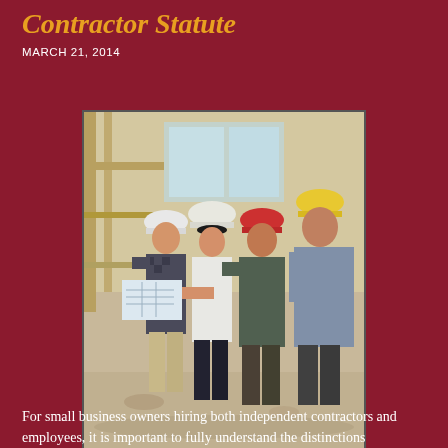Contractor Statute
MARCH 21, 2014
[Figure (photo): Five construction workers wearing hard hats (white, white, red, yellow) gathered on a construction site reviewing blueprints or plans. The background shows scaffolding and an unfinished building interior.]
For small business owners hiring both independent contractors and employees, it is important to fully understand the distinctions